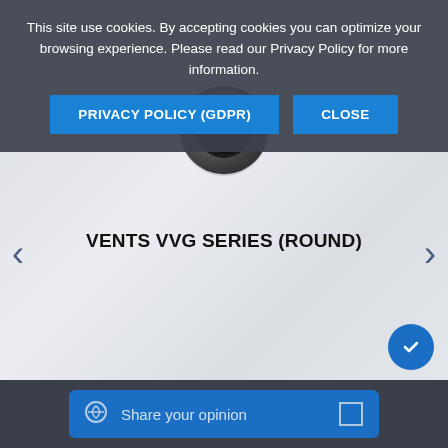This site use cookies. By accepting cookies you can optimize your browsing experience. Please read our Privacy Policy for more information.
PRIVACY POLICY (GDPR)
CLOSE
[Figure (photo): Round ventilation duct fitting - VENTS VVG Series round connector viewed from front angle, dark grey metal]
VENTS VVG SERIES (ROUND)
Share your opinion